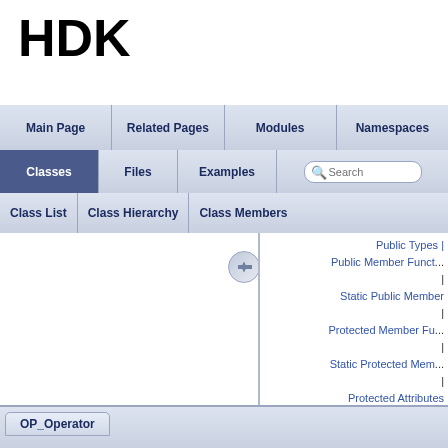HDK
Main Page | Related Pages | Modules | Namespaces
Classes | Files | Examples | Search
Class List | Class Hierarchy | Class Members
[Figure (screenshot): Documentation page navigation with toggle arrow and right panel showing: Public Types | Public Member Functions | Static Public Member Functions | Protected Member Functions | Static Protected Members | Protected Attributes | Friends |]
OP_Operator